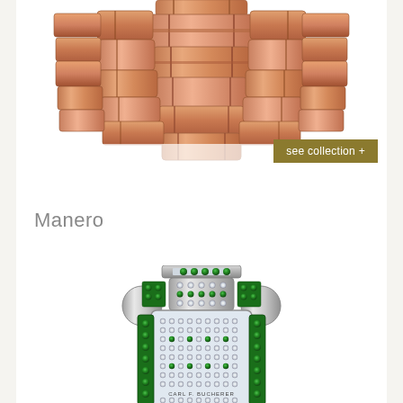[Figure (photo): Close-up top view of a rose gold watch bracelet/link bracelet with geometric links, shown against white background]
see collection +
Manero
[Figure (photo): Close-up top view of a luxury watch with white gold case set with diamonds and green emeralds, showing the case and upper bracelet, partially cropped]